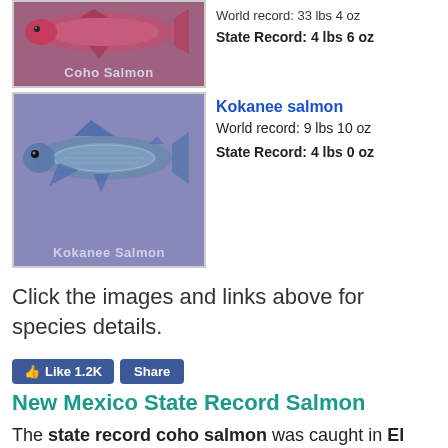[Figure (photo): Coho Salmon fish image with purple/red background and label 'Coho Salmon']
World record: 33 lbs 4 oz
State Record: 4 lbs 6 oz
[Figure (photo): Kokanee Salmon fish image with purple background and label 'Kokanee Salmon']
Kokanee salmon
World record: 9 lbs 10 oz
State Record: 4 lbs 0 oz
Click the images and links above for species details.
[Figure (other): Facebook Like 1.2K and Share buttons]
New Mexico State Record Salmon
The state record coho salmon was caught in El Vado Lake.